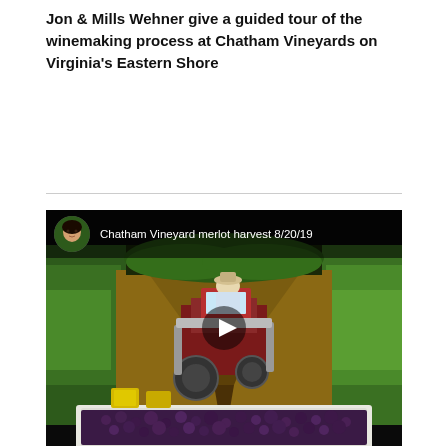Jon & Mills Wehner give a guided tour of the winemaking process at Chatham Vineyards on Virginia's Eastern Shore
[Figure (screenshot): YouTube video thumbnail showing a tractor harvesting merlot grapes in a vineyard row at Chatham Vineyard, with bins of dark grapes in the foreground. A play button is visible in the center. A video topbar shows a circular profile photo of a woman and the title 'Chatham Vineyard merlot harvest 8/20/19'.]